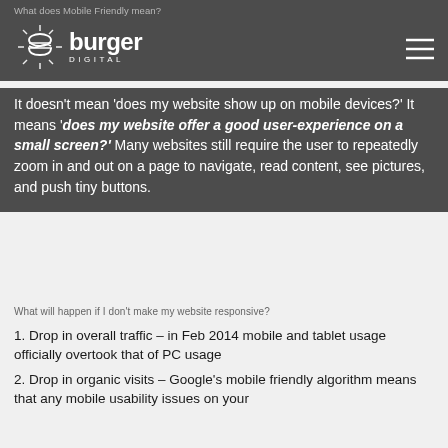What does Mobile Friendly mean?
[Figure (logo): Burger Digital logo with burger icon and text 'burger DIGITAL']
It doesn't mean 'does my website show up on mobile devices?' It means 'does my website offer a good user-experience on a small screen?' Many websites still require the user to repeatedly zoom in and out on a page to navigate, read content, see pictures, and push tiny buttons.
What will happen if I don't make my website responsive?
1. Drop in overall traffic – in Feb 2014 mobile and tablet usage officially overtook that of PC usage
2. Drop in organic visits – Google's mobile friendly algorithm means that any mobile usability issues on your